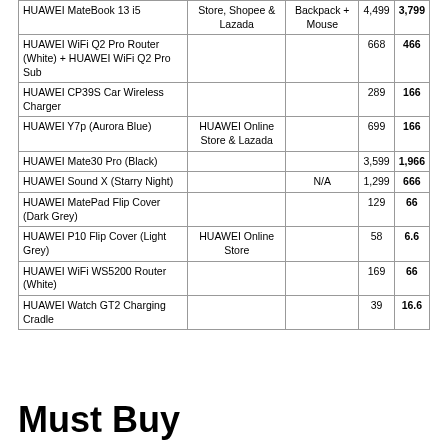| Product | Platform | Free Gift | SRP | Price |
| --- | --- | --- | --- | --- |
| HUAWEI MateBook 13 i5 | Store, Shopee & Lazada | Backpack + Mouse | 4,499 | 3,799 |
| HUAWEI WiFi Q2 Pro Router (White) + HUAWEI WiFi Q2 Pro Sub |  |  | 668 | 466 |
| HUAWEI CP39S Car Wireless Charger |  |  | 289 | 166 |
| HUAWEI Y7p (Aurora Blue) | HUAWEI Online Store & Lazada |  | 699 | 166 |
| HUAWEI Mate30 Pro (Black) |  |  | 3,599 | 1,966 |
| HUAWEI Sound X (Starry Night) |  | N/A | 1,299 | 666 |
| HUAWEI MatePad Flip Cover (Dark Grey) |  |  | 129 | 66 |
| HUAWEI P10 Flip Cover (Light Grey) | HUAWEI Online Store |  | 58 | 6.6 |
| HUAWEI WiFi WS5200 Router (White) |  |  | 169 | 66 |
| HUAWEI Watch GT2 Charging Cradle |  |  | 39 | 16.6 |
Must Buy